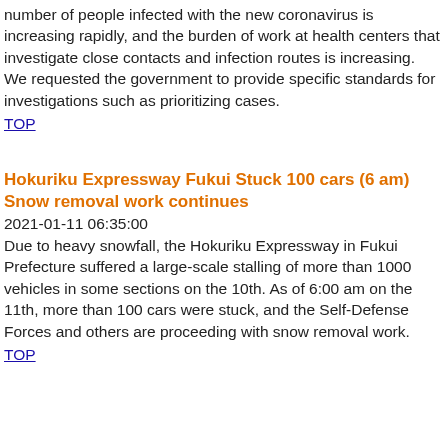number of people infected with the new coronavirus is increasing rapidly, and the burden of work at health centers that investigate close contacts and infection routes is increasing. We requested the government to provide specific standards for investigations such as prioritizing cases.
TOP
Hokuriku Expressway Fukui Stuck 100 cars (6 am) Snow removal work continues
2021-01-11 06:35:00
Due to heavy snowfall, the Hokuriku Expressway in Fukui Prefecture suffered a large-scale stalling of more than 1000 vehicles in some sections on the 10th. As of 6:00 am on the 11th, more than 100 cars were stuck, and the Self-Defense Forces and others are proceeding with snow removal work.
TOP